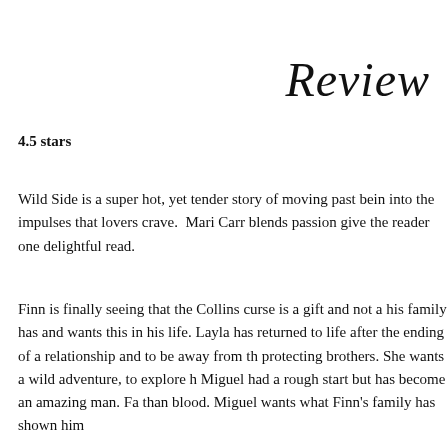Review
4.5 stars
Wild Side is a super hot, yet tender story of moving past being into the impulses that lovers crave.  Mari Carr blends passion give the reader one delightful read.
Finn is finally seeing that the Collins curse is a gift and not a his family has and wants this in his life. Layla has returned to life after the ending of a relationship and to be away from th protecting brothers. She wants a wild adventure, to explore h Miguel had a rough start but has become an amazing man. Fa than blood. Miguel wants what Finn's family has shown him